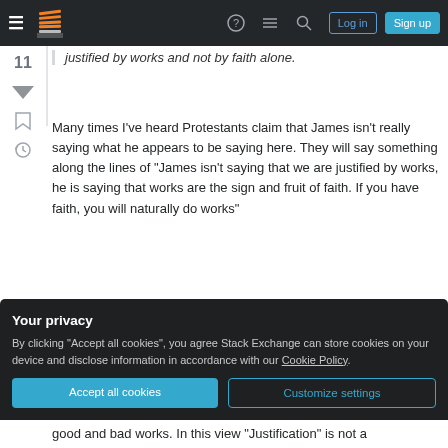Stack Exchange navigation bar with Log in and Sign up buttons
justified by works and not by faith alone.
Many times I've heard Protestants claim that James isn't really saying what he appears to be saying here. They will say something along the lines of "James isn't saying that we are justified by works, he is saying that works are the sign and fruit of faith. If you have faith, you will naturally do works"
I have no problem with saying that works are the fruit of faith and that if you have faith you will naturally do
Your privacy
By clicking "Accept all cookies", you agree Stack Exchange can store cookies on your device and disclose information in accordance with our Cookie Policy.
good and bad works. In this view "Justification" is not a